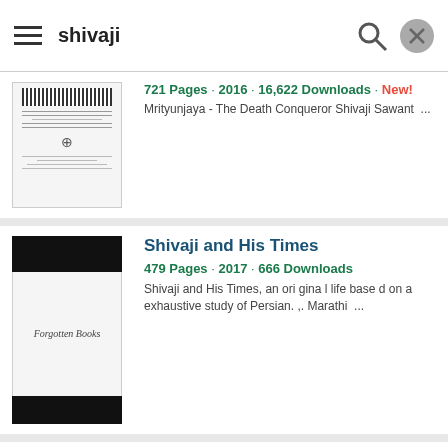shivaji
[Figure (screenshot): Thumbnail of a book with barcode]
721 Pages · 2016 · 16,622 Downloads · New!
Mrityunjaya - The Death Conqueror Shivaji Sawant ...
[Figure (screenshot): Thumbnail of Shivaji and His Times book - Forgotten Books]
Shivaji and His Times
479 Pages · 2017 · 666 Downloads
Shivaji and His Times, an original life based on a exhaustive study of Persian. ,. Marathi ...
[Figure (screenshot): Thumbnail of shivaji the great book]
shivaji the great
239 Pages · 2006 · 694 Downloads
, of dedicating his life to the service of the god at Shri. shivaji the great ...
[Figure (logo): PDFDrive logo with COVER NOT AVAILABLE text]
छावा - शिवाजी सावंत
2018 · 7,238 Downloads · Marathi · New!
छावा_-_शिवाजी_सावंत.pdf Chhawa (Marathi) SAWANT, SHIVAJI छावा - छावा♦ ...